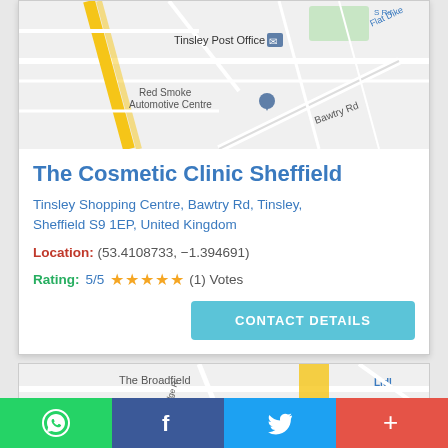[Figure (map): Google Maps screenshot showing Tinsley area with Tinsley Post Office, Red Smoke Automotive Centre, and Bawtry Rd labels. Yellow road and gray street network visible.]
The Cosmetic Clinic Sheffield
Tinsley Shopping Centre, Bawtry Rd, Tinsley, Sheffield S9 1EP, United Kingdom
Location: (53.4108733, -1.394691)
Rating: 5/5 ★★★★★ (1) Votes
[Figure (map): Partial Google Maps screenshot showing The Broadfield area with Lidl visible at the right side.]